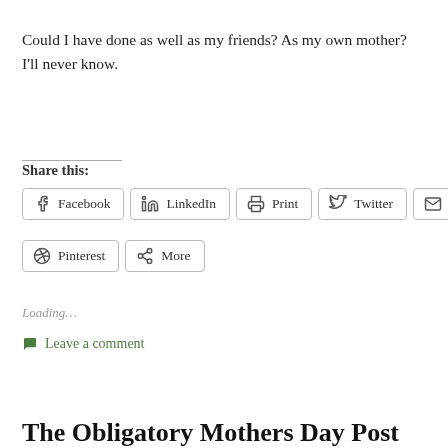Could I have done as well as my friends? As my own mother? I'll never know.
Share this:
Facebook  LinkedIn  Print  Twitter  Email  Pinterest  More
Loading…
Leave a comment
The Obligatory Mothers Day Post